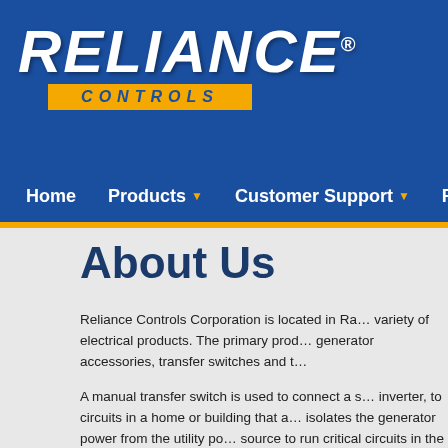[Figure (logo): Reliance Controls Corporation logo — white bold italic RELIANCE text with registered trademark symbol on blue background, yellow bar with CONTROLS in blue italic letters below]
Home   Products ▾   Customer Support ▾   Produc…
About Us
Reliance Controls Corporation is located in Ra… variety of electrical products. The primary prod… generator accessories, transfer switches and t…
A manual transfer switch is used to connect a s… inverter, to circuits in a home or building that a… isolates the generator power from the utility po… source to run critical circuits in the event the m… feeding" the utility line. The Pro/Tran® models … 50A 125/250V outlet (around 12,5000 watts), a… can act as service or feed-through disconnects… accommodate up to a 31kw generator. More s…